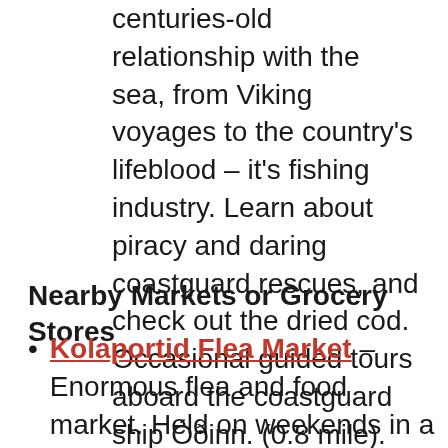centuries-old relationship with the sea, from Viking voyages to the country's lifeblood – it's fishing industry. Learn about piracy and daring coastguard rescues, and check out the dried cod. Occasional guided tours aboard the coastguard ship Óðinn. (0.8 mile).
Nearby Markets or Grocery Stores
Kolaportid Flea Market – Enormous flea and food market. Held on weekends in a massive industrial building by the waterfront, this market has numerous stalls selling vintage clothing, old toys